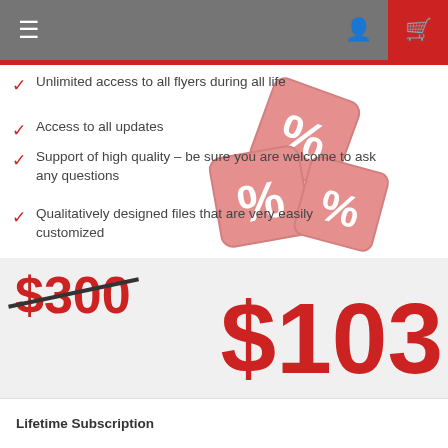Navigation bar with menu, user, and cart icons
Unlimited access to all flyers during all life
Access to all updates
Support of high quality – be sure you are welcome to ask any questions
Qualitatively designed files that are very easily customized
$300 (strikethrough) $103
Lifetime Subscription